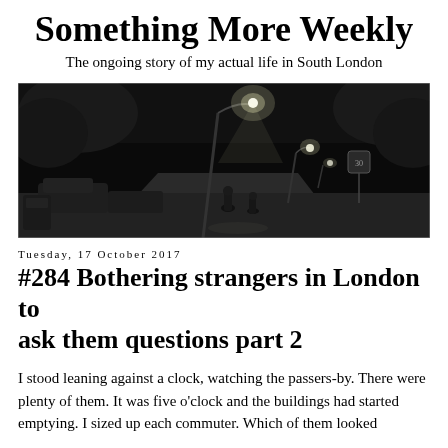Something More Weekly
The ongoing story of my actual life in South London
[Figure (photo): Black and white nighttime street photograph showing a dark London street with glowing street lamps, trees, parked cars, and a road sign visible in the background.]
Tuesday, 17 October 2017
#284 Bothering strangers in London to ask them questions part 2
I stood leaning against a clock, watching the passers-by. There were plenty of them. It was five o'clock and the buildings had started emptying. I sized up each commuter. Which of them looked